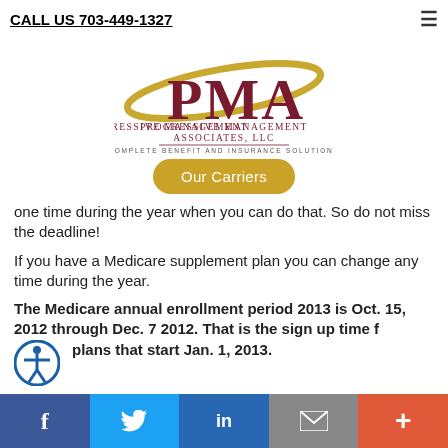CALL US 703-449-1327
[Figure (logo): PMA Progressive Management Associates LLC - Complete Benefit and Insurance Solutions logo with gold swoosh and dark red PMA letters]
Our Carriers
one time during the year when you can do that. So do not miss the deadline!
If you have a Medicare supplement plan you can change any time during the year.
The Medicare annual enrollment period 2013 is Oct. 15, 2012 through Dec. 7 2012. That is the sign up time for plans that start Jan. 1, 2013.
Social share bar: Facebook, Twitter, LinkedIn, Email, More